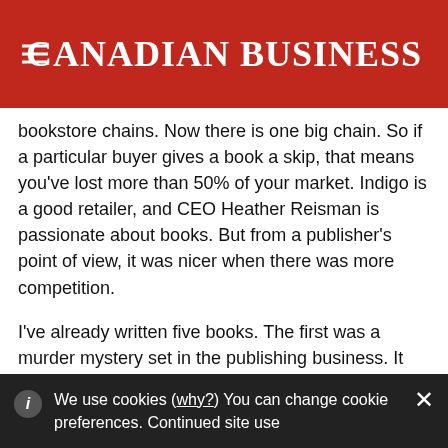CANADIAN BUSINESS
bookstore chains. Now there is one big chain. So if a particular buyer gives a book a skip, that means you've lost more than 50% of your market. Indigo is a good retailer, and CEO Heather Reisman is passionate about books. But from a publisher's point of view, it was nicer when there was more competition.
I've already written five books. The first was a murder mystery set in the publishing business. It was so much fun to write, I wrote two more. And then I was down in New York, and one of the book chains there asked if I had a book on Brooklyn. I said, "Yeah, sure," but it
We use cookies (why?) You can change cookie preferences. Continued site use